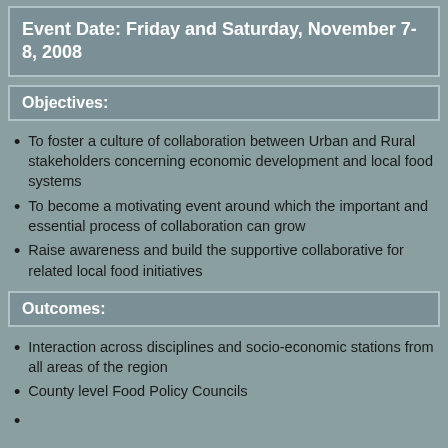Event Date: Friday and Saturday, November 7-8, 2008
Objectives:
To foster a culture of collaboration between Urban and Rural stakeholders concerning economic development and local food systems
To become a motivating event around which the important and essential process of collaboration can grow
Raise awareness and build the supportive collaborative for related local food initiatives
Outcomes:
Interaction across disciplines and socio-economic stations from all areas of the region
County level Food Policy Councils